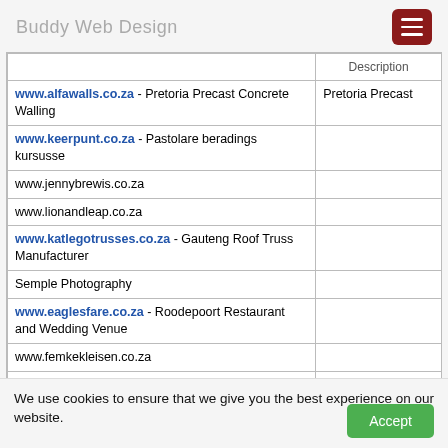Buddy Web Design
|  | Description |
| --- | --- |
| www.alfawalls.co.za - Pretoria Precast Concrete Walling | Pretoria Precast |
| www.keerpunt.co.za - Pastolare beradings kursusse |  |
| www.jennybrewis.co.za |  |
| www.lionandleap.co.za |  |
| www.katlegotrusses.co.za - Gauteng Roof Truss Manufacturer |  |
| Semple Photography |  |
| www.eaglesfare.co.za - Roodepoort Restaurant and Wedding Venue |  |
| www.femkekleisen.co.za |  |
| www.mellowclinic.co.za |  |
| www.pearlglow.co.za |  |
| www.vitec.co.za |  |
| Shaun Els Designs |  |
We use cookies to ensure that we give you the best experience on our website.